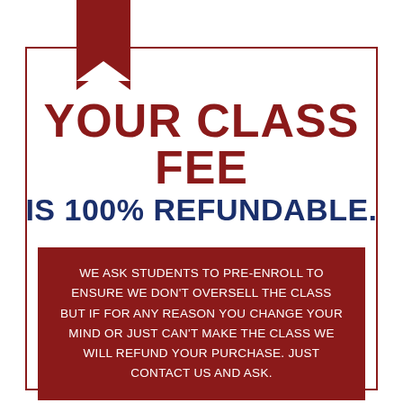[Figure (illustration): Dark red ribbon bookmark shape hanging from top of a bordered document area]
YOUR CLASS FEE IS 100% REFUNDABLE.
WE ASK STUDENTS TO PRE-ENROLL TO ENSURE WE DON'T OVERSELL THE CLASS BUT IF FOR ANY REASON YOU CHANGE YOUR MIND OR JUST CAN'T MAKE THE CLASS WE WILL REFUND YOUR PURCHASE. JUST CONTACT US AND ASK.